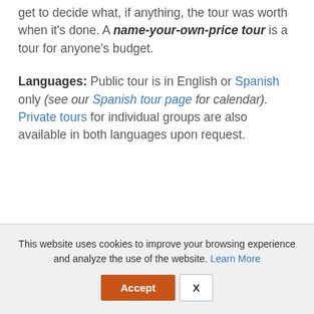Cost: This tour is free to take, and you get to decide what, if anything, the tour was worth when it's done. A name-your-own-price tour is a tour for anyone's budget.
Languages: Public tour is in English or Spanish only (see our Spanish tour page for calendar). Private tours for individual groups are also available in both languages upon request.
This website uses cookies to improve your browsing experience and analyze the use of the website. Learn More